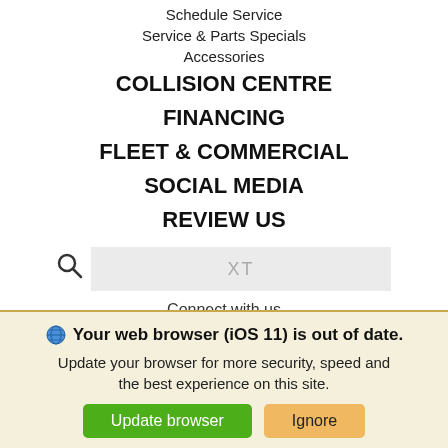Schedule Service
Service & Parts Specials
Accessories
COLLISION CENTRE
FINANCING
FLEET & COMMERCIAL
SOCIAL MEDIA
REVIEW US
[Figure (screenshot): Search bar with magnifying glass icon and placeholder text 'XT']
Connect with us
[Figure (infographic): Social media icons: Facebook, Twitter, Instagram, Pinterest]
Websites Powered By
Your web browser (iOS 11) is out of date. Update your browser for more security, speed and the best experience on this site.
Update browser | Ignore